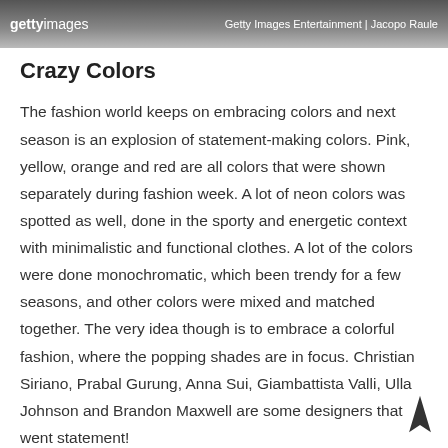[Figure (screenshot): Getty Images header bar with logo on the left reading 'gettyimages' and credit text on the right reading 'Getty Images Entertainment | Jacopo Raule']
Crazy Colors
The fashion world keeps on embracing colors and next season is an explosion of statement-making colors. Pink, yellow, orange and red are all colors that were shown separately during fashion week. A lot of neon colors was spotted as well, done in the sporty and energetic context with minimalistic and functional clothes. A lot of the colors were done monochromatic, which been trendy for a few seasons, and other colors were mixed and matched together. The very idea though is to embrace a colorful fashion, where the popping shades are in focus. Christian Siriano, Prabal Gurung, Anna Sui, Giambattista Valli, Ulla Johnson and Brandon Maxwell are some designers that went statement!